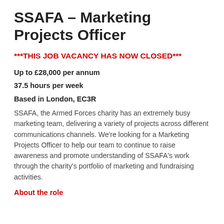SSAFA – Marketing Projects Officer
***THIS JOB VACANCY HAS NOW CLOSED***
Up to £28,000 per annum
37.5 hours per week
Based in London, EC3R
SSAFA, the Armed Forces charity has an extremely busy marketing team, delivering a variety of projects across different communications channels. We're looking for a Marketing Projects Officer to help our team to continue to raise awareness and promote understanding of SSAFA's work through the charity's portfolio of marketing and fundraising activities.
About the role